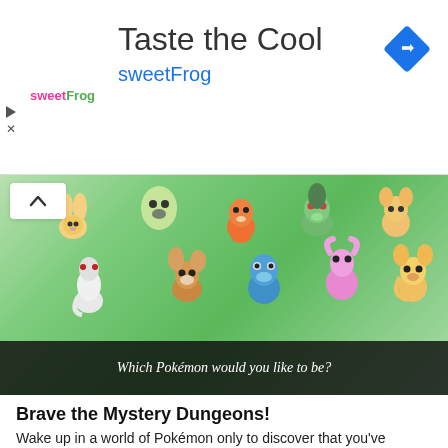[Figure (screenshot): SweetFrog advertisement banner with logo, 'Taste the Cool' headline, 'sweetFrog' subtitle in blue, and a navigation/directions icon in blue diamond shape on the right.]
[Figure (screenshot): Pokemon Mystery Dungeon: Rescue Team DX gameplay screenshot showing multiple Pokemon characters (including Charmander, Bulbasaur, Squirtle, Eevee, Meowth, and others) on a green background, with a dark caption bar reading 'Which Pokémon would you like to be?']
Brave the Mystery Dungeons!
Wake up in a world of Pokémon only to discover that you've become a Pokémon yourself with Pokemon Mystery Dungeon: Rescue Team DX for iPhone/iPad free download! Solve the mystery of your strange predicament by befriending other Pokémon and traveling through dungeons that change every time you play. There are enemy